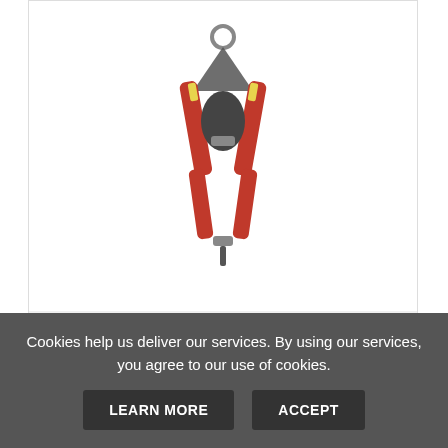[Figure (photo): Geelife upper body climbing harness product image — a safety harness with red straps, black body and yellow accents, with a metal ring at the top, shown hanging vertically]
Geelife The Upper Body Climbing Harness ...
only $73.60
VIEW
ADD TO CART
Cookies help us deliver our services. By using our services, you agree to our use of cookies.
LEARN MORE
ACCEPT